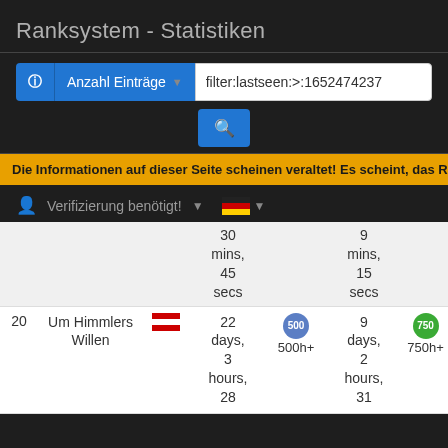Ranksystem - Statistiken
filter:lastseen:>:1652474237
Die Informationen auf dieser Seite scheinen veraltet! Es scheint, das Ranksystem ist i
Verifizierung benötigt!
|  |  |  | 30 mins, 45 secs |  | 9 mins, 15 secs |  |
| 20 | Um Himmlers Willen | Austria | 22 days, 3 hours, 28 | 500h+ | 9 days, 2 hours, 31 | 750h+ |